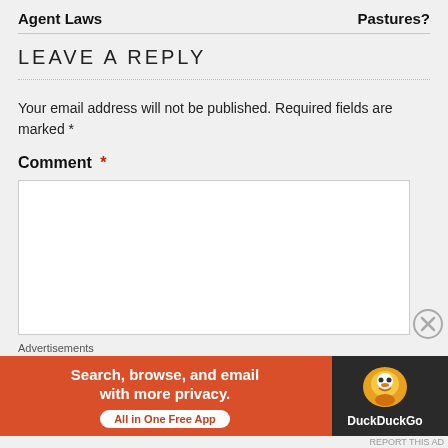Agent Laws    Pastures?
LEAVE A REPLY
Your email address will not be published. Required fields are marked *
Comment *
[Figure (screenshot): Empty comment text area input box]
[Figure (other): Close/dismiss button (X in circle)]
Advertisements
[Figure (other): DuckDuckGo advertisement banner: Search, browse, and email with more privacy. All in One Free App]